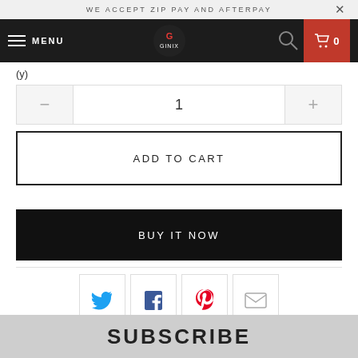WE ACCEPT ZIP PAY AND AFTERPAY
[Figure (screenshot): Navigation bar with hamburger menu, MENU text, Ginix logo, search icon, and red cart button showing 0]
(y)
1
ADD TO CART
BUY IT NOW
[Figure (infographic): Social share icons row: Twitter (blue bird), Facebook (dark f), Pinterest (red P), Email (envelope)]
SUBSCRIBE